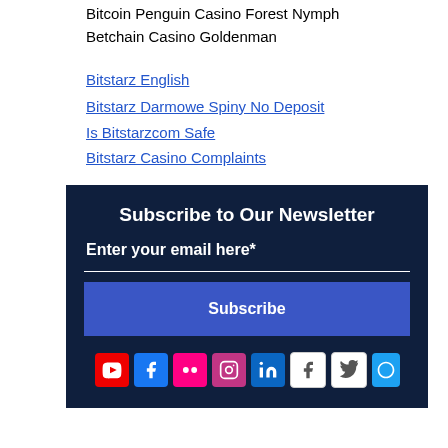Bitcoin Penguin Casino Forest Nymph
Betchain Casino Goldenman
Bitstarz English
Bitstarz Darmowe Spiny No Deposit
Is Bitstarzcom Safe
Bitstarz Casino Complaints
Subscribe to Our Newsletter
Enter your email here*
Subscribe
[Figure (infographic): Row of social media icons: YouTube, Facebook, Flickr, Instagram, LinkedIn, Facebook (gray), Twitter (gray), and one more partially visible]